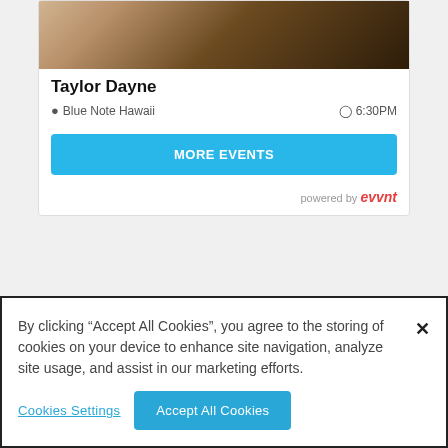[Figure (photo): Cropped photo of Taylor Dayne, showing hair and partial figure against dark background]
Taylor Dayne
Blue Note Hawaii  6:30PM
MORE EVENTS
powered by evvnt
By clicking “Accept All Cookies”, you agree to the storing of cookies on your device to enhance site navigation, analyze site usage, and assist in our marketing efforts.
Cookies Settings
Accept All Cookies